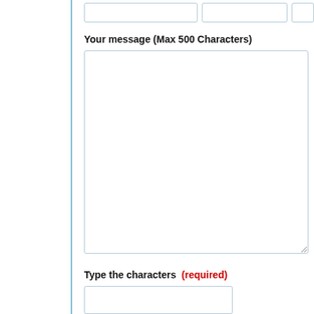Your message (Max 500 Characters)
[Figure (screenshot): Large empty textarea for message input]
Type the characters (required)
[Figure (screenshot): Text input box for captcha characters]
[Figure (screenshot): CAPTCHA image showing characters: 4rD 7x]
Send
This site uses cookies: Find out more.
Okay, thanks